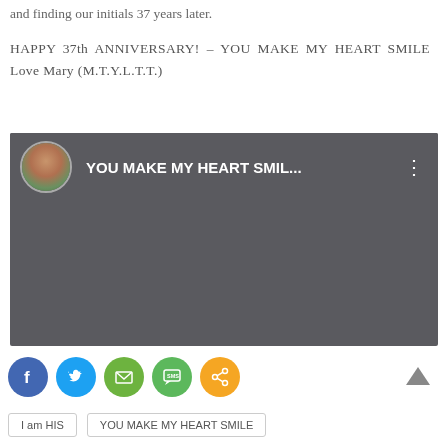and finding our initials 37 years later.
HAPPY 37th ANNIVERSARY! – YOU MAKE MY HEART SMILE Love Mary (M.T.Y.L.T.T.)
[Figure (screenshot): A video player or social media post embed with a dark grey background, showing a circular avatar of a woman in a red jacket, the title 'YOU MAKE MY SMIL...' in white text, and a three-dot menu icon.]
[Figure (infographic): Social sharing buttons row: Facebook (blue), Twitter (light blue), Email (green), SMS (green with speech bubble), Share (orange). A back-to-top arrow on the right.]
I am HIS
YOU MAKE MY HEART SMILE